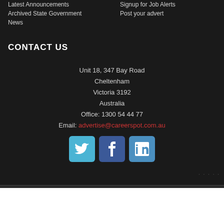Latest Announcements
Archived State Government News
Signup for Job Alerts
Post your advert
CONTACT US
Unit 18, 347 Bay Road
Cheltenham
Victoria 3192
Australia
Office: 1300 54 44 77
Email: advertise@careerspot.com.au
[Figure (infographic): Social media icons: Twitter (blue bird icon), Facebook (blue f icon), LinkedIn (blue in icon)]